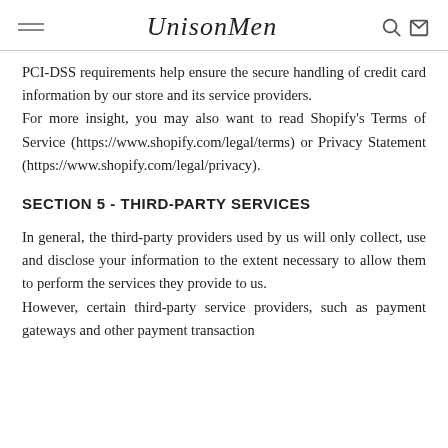UnisonMen
PCI-DSS requirements help ensure the secure handling of credit card information by our store and its service providers.
For more insight, you may also want to read Shopify’s Terms of Service (https://www.shopify.com/legal/terms) or Privacy Statement (https://www.shopify.com/legal/privacy).
SECTION 5 - THIRD-PARTY SERVICES
In general, the third-party providers used by us will only collect, use and disclose your information to the extent necessary to allow them to perform the services they provide to us.
However, certain third-party service providers, such as payment gateways and other payment transaction